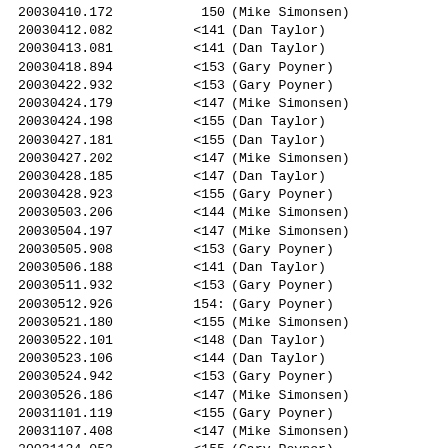| Object ID | Value | Observer |
| --- | --- | --- |
| 20030410.172 | 150 | (Mike Simonsen) |
| 20030412.082 | <141 | (Dan Taylor) |
| 20030413.081 | <141 | (Dan Taylor) |
| 20030418.894 | <153 | (Gary Poyner) |
| 20030422.932 | <153 | (Gary Poyner) |
| 20030424.179 | <147 | (Mike Simonsen) |
| 20030424.198 | <155 | (Dan Taylor) |
| 20030427.181 | <155 | (Dan Taylor) |
| 20030427.202 | <147 | (Mike Simonsen) |
| 20030428.185 | <147 | (Dan Taylor) |
| 20030428.923 | <155 | (Gary Poyner) |
| 20030503.206 | <144 | (Mike Simonsen) |
| 20030504.197 | <147 | (Mike Simonsen) |
| 20030505.908 | <153 | (Gary Poyner) |
| 20030506.188 | <141 | (Dan Taylor) |
| 20030511.932 | <153 | (Gary Poyner) |
| 20030512.926 | 154: | (Gary Poyner) |
| 20030521.180 | <155 | (Mike Simonsen) |
| 20030522.101 | <148 | (Dan Taylor) |
| 20030523.106 | <144 | (Dan Taylor) |
| 20030524.942 | <153 | (Gary Poyner) |
| 20030526.186 | <147 | (Mike Simonsen) |
| 20031101.119 | <155 | (Gary Poyner) |
| 20031107.408 | <147 | (Mike Simonsen) |
| 20031124.053 | <155 | (Gary Poyner) |
| 20031203.408 | <147 | (Mike Simonsen) |
| 20031206.400 | 149 | (Mike Simonsen) |
| 20040111.126 | 152 | (Dan Taylor) |
| 20040114.865 | 153 | (Gary Poyner) |
| 20040116.996 | 150 | (Gary Poyner) |
| 20040122.929 | <153 | (Mike Simonsen) |